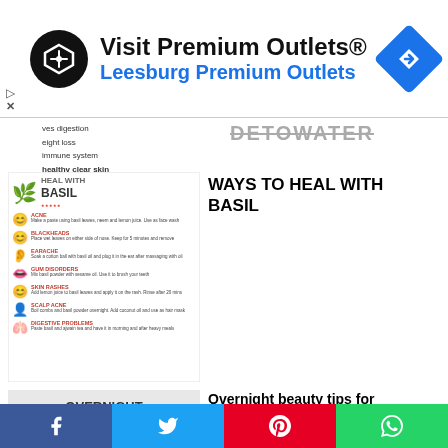[Figure (infographic): Advertisement banner: Visit Premium Outlets® Leesburg Premium Outlets with black circular logo and blue navigation icon]
[Figure (infographic): Previous content showing: ves digestion, eight loss, immune system, healthy clear skin with DETOWATER heading]
[Figure (infographic): Heal with Basil infographic showing remedies for Acne, Blackheads, Earache, Gum Disorders, Skin Rashes, Scalp Acne, Digestive Problems with illustrations]
WAYS TO HEAL WITH BASIL
Overnight beauty tips for beautiful skin and hair
[Figure (infographic): Overnight Beauty Tips thumbnail image]